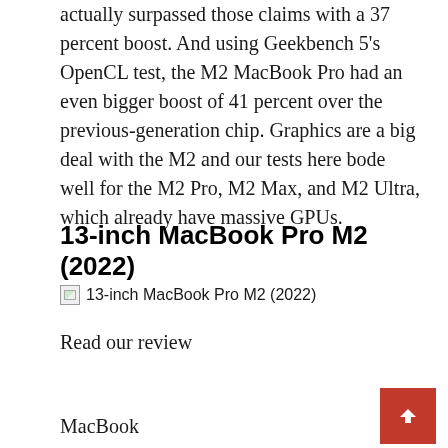actually surpassed those claims with a 37 percent boost. And using Geekbench 5's OpenCL test, the M2 MacBook Pro had an even bigger boost of 41 percent over the previous-generation chip. Graphics are a big deal with the M2 and our tests here bode well for the M2 Pro, M2 Max, and M2 Ultra, which already have massive GPUs.
13-inch MacBook Pro M2 (2022)
[Figure (photo): Broken image placeholder with alt text: 13-inch MacBook Pro M2 (2022)]
Read our review
MacBook